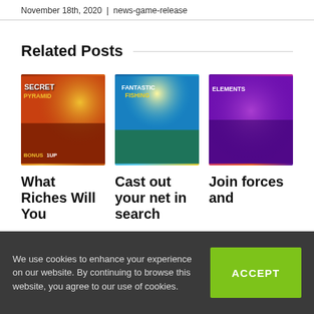November 18th, 2020 | news-game-release
Related Posts
[Figure (photo): Game promotional image: Secret Pyramids slot game with Egyptian themed characters and BONUS UP text]
What Riches Will You
[Figure (photo): Game promotional image: Fantastic Fishing slot game with fisherman character and colorful slot reels]
Cast out your net in search
[Figure (photo): Game promotional image: Elements slot game with fantasy superhero characters on purple background]
Join forces and
We use cookies to enhance your experience on our website. By continuing to browse this website, you agree to our use of cookies.